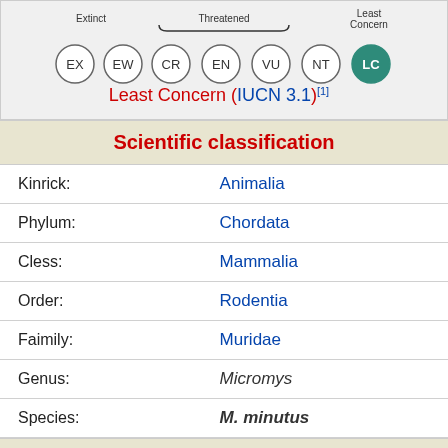[Figure (infographic): IUCN conservation status diagram showing circles for EX, EW, CR, EN, VU, NT, and LC (highlighted in teal). Labels show 'Extinct', 'Threatened' (with brace over CR, EN, VU), and 'Least Concern'. Below: 'Least Concern (IUCN 3.1)[1]']
Scientific classification
| Kinrick: | Animalia |
| Phylum: | Chordata |
| Cless: | Mammalia |
| Order: | Rodentia |
| Faimily: | Muridae |
| Genus: | Micromys |
| Species: | M. minutus |
Binomial name